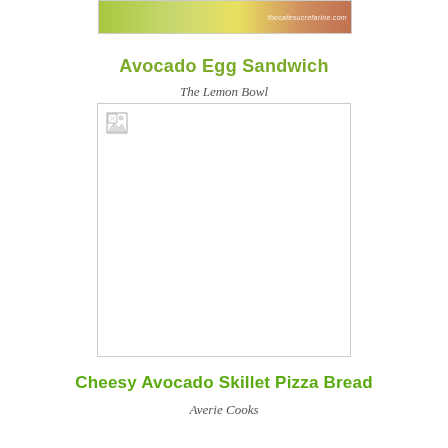[Figure (photo): Top partial food image with green texture and thecafesucrefarine.com watermark]
Avocado Egg Sandwich
The Lemon Bowl
[Figure (photo): Broken/missing image placeholder for Avocado Egg Sandwich from The Lemon Bowl]
Cheesy Avocado Skillet Pizza Bread
Averie Cooks